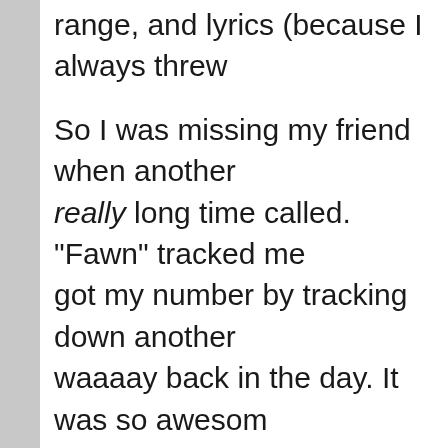range, and lyrics (because I always thre...
So I was missing my friend when another really long time called. "Fawn" tracked me got my number by tracking down another waaaay back in the day. It was so aweso were both younger and sillier. She'd know when her daughter was just starting elem
Fawn and I spent a couple of hours talkin time in life. We talked about that and abo the people that Death has snatched away were especially close to when the three o sad news that I only just found out this ye years ago. It was sad to talk about but it w who also liked him so much.
Sometimes you have to talk to someo...